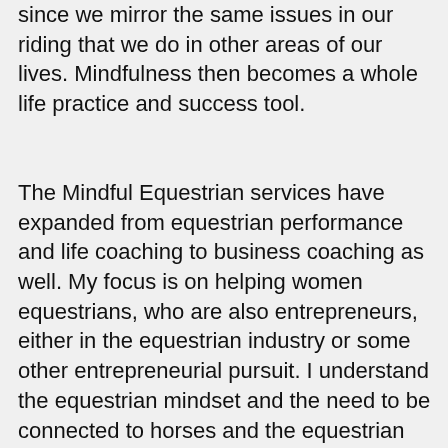since we mirror the same issues in our riding that we do in other areas of our lives. Mindfulness then becomes a whole life practice and success tool.
The Mindful Equestrian services have expanded from equestrian performance and life coaching to business coaching as well. My focus is on helping women equestrians, who are also entrepreneurs, either in the equestrian industry or some other entrepreneurial pursuit. I understand the equestrian mindset and the need to be connected to horses and the equestrian community. I also understand the ins and outs of being in business and the entrepreneurial mindset. So it is a win-win situation!